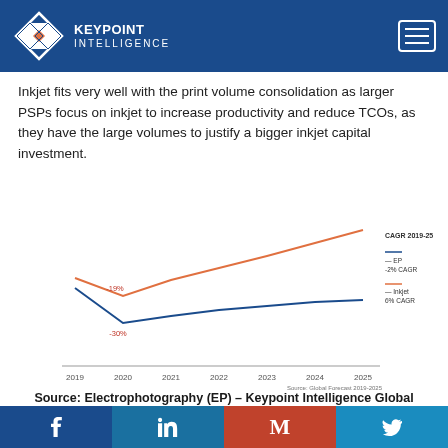KEYPOINT INTELLIGENCE
Inkjet fits very well with the print volume consolidation as larger PSPs focus on inkjet to increase productivity and reduce TCOs, as they have the large volumes to justify a bigger inkjet capital investment.
[Figure (line-chart): CAGR 2019-25]
Source: Electrophotography (EP) – Keypoint Intelligence Global Forecast
Facebook LinkedIn Gmail Twitter